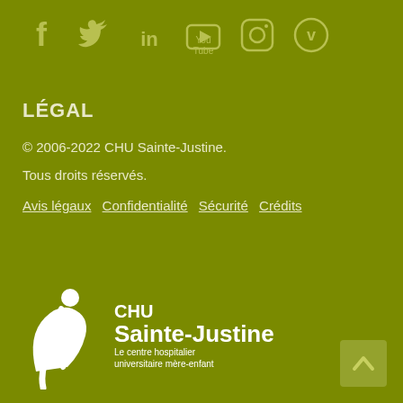[Figure (illustration): Row of social media icons: Facebook, Twitter, LinkedIn, YouTube, Instagram, Vimeo — rendered in muted olive/khaki color on green background]
LÉGAL
© 2006-2022 CHU Sainte-Justine.
Tous droits réservés.
Avis légaux   Confidentialité   Sécurité   Crédits
[Figure (logo): CHU Sainte-Justine logo: white stylized mother-child figure on left, text 'CHU Sainte-Justine' with subtitle 'Le centre hospitalier universitaire mère-enfant' on right]
[Figure (illustration): Back-to-top arrow button in bottom right corner, semi-transparent olive square with upward chevron arrow]